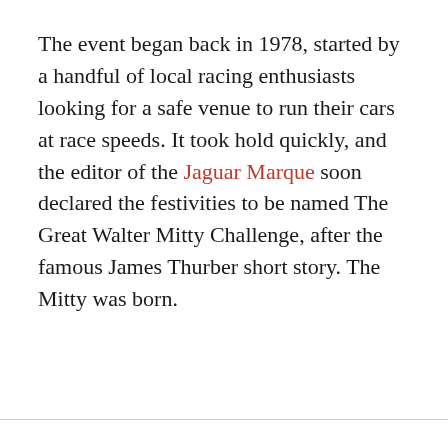The event began back in 1978, started by a handful of local racing enthusiasts looking for a safe venue to run their cars at race speeds. It took hold quickly, and the editor of the Jaguar Marque soon declared the festivities to be named The Great Walter Mitty Challenge, after the famous James Thurber short story. The Mitty was born.